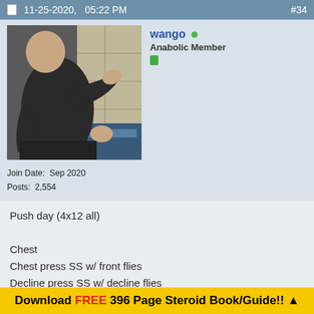11-25-2020,   05:22 PM    #34
[Figure (photo): Profile photo of a muscular person wearing a dark shirt, flexing arm in what appears to be a gym/bathroom setting]
Join Date:  Sep 2020
Posts:  2,554
wango
Anabolic Member
Push day (4x12 all)

Chest
Chest press SS w/ front flies
Decline press SS w/ decline flies

Triceps
Press downs SS with close grip press
Rope press SS with overhead extensions

Abs
Download FREE 396 Page Steroid Book/Guide!! ▲